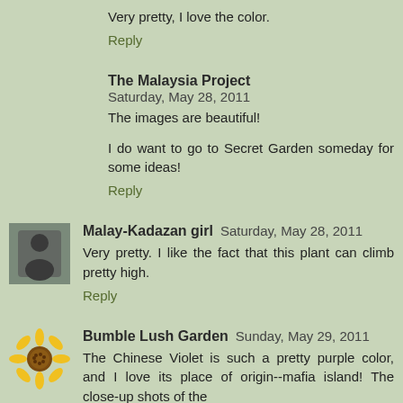Very pretty, I love the color.
Reply
The Malaysia Project  Saturday, May 28, 2011
The images are beautiful!
I do want to go to Secret Garden someday for some ideas!
Reply
Malay-Kadazan girl  Saturday, May 28, 2011
Very pretty. I like the fact that this plant can climb pretty high.
Reply
Bumble Lush Garden  Sunday, May 29, 2011
The Chinese Violet is such a pretty purple color, and I love its place of origin--mafia island! The close-up shots of the